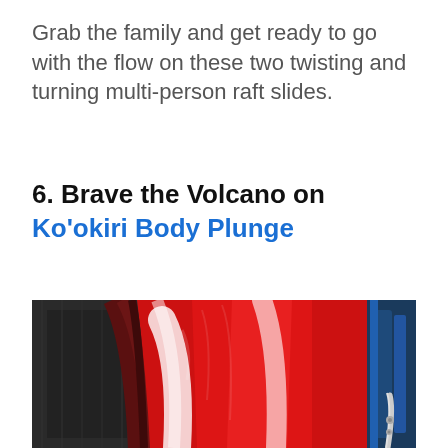Grab the family and get ready to go with the flow on these two twisting and turning multi-person raft slides.
6. Brave the Volcano on Ko’okiri Body Plunge
[Figure (photo): Close-up photo of a large red water slide tube with white water rushing through it, with blue structural elements visible in the background and dark surroundings]